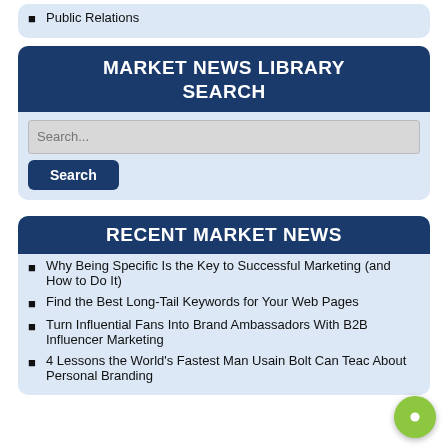Public Relations
MARKET NEWS LIBRARY SEARCH
Search...
Why Being Specific Is the Key to Successful Marketing (and How to Do It)
Find the Best Long-Tail Keywords for Your Web Pages
Turn Influential Fans Into Brand Ambassadors With B2B Influencer Marketing
4 Lessons the World's Fastest Man Usain Bolt Can Teach About Personal Branding